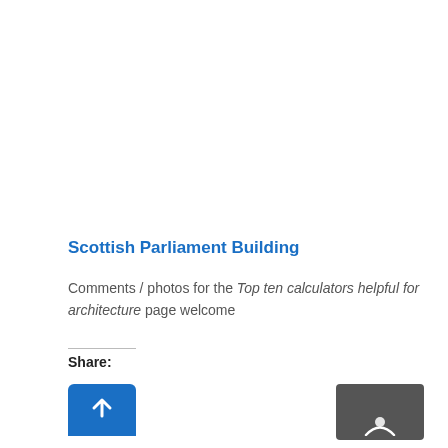Scottish Parliament Building
Comments / photos for the Top ten calculators helpful for architecture page welcome
Share: